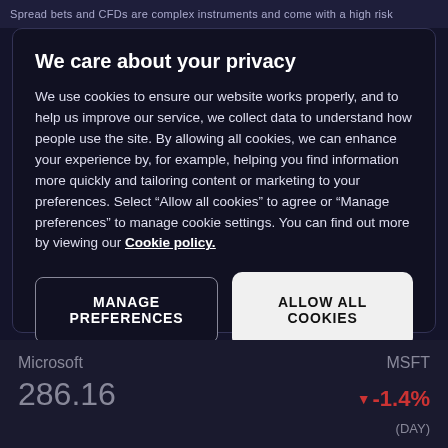Spread bets and CFDs are complex instruments and come with a high risk
We care about your privacy
We use cookies to ensure our website works properly, and to help us improve our service, we collect data to understand how people use the site. By allowing all cookies, we can enhance your experience by, for example, helping you find information more quickly and tailoring content or marketing to your preferences. Select “Allow all cookies” to agree or “Manage preferences” to manage cookie settings. You can find out more by viewing our Cookie policy.
MANAGE PREFERENCES
ALLOW ALL COOKIES
Microsoft
MSFT
286.16
-1.4%
(DAY)